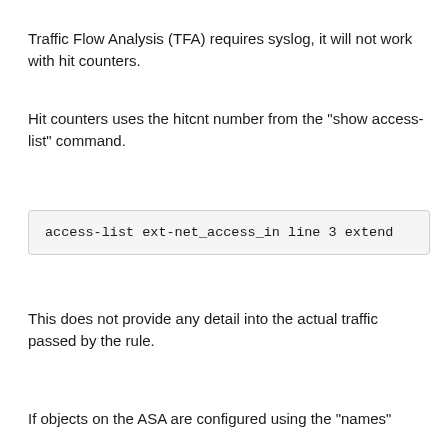Traffic Flow Analysis (TFA) requires syslog, it will not work with hit counters.
Hit counters uses the hitcnt number from the "show access-list" command.
access-list ext-net_access_in line 3 extend
This does not provide any detail into the actual traffic passed by the rule.
If objects on the ASA are configured using the "names"